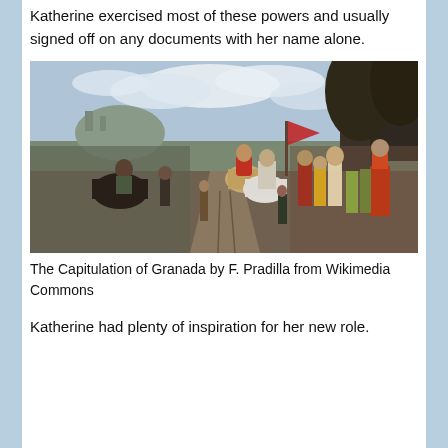Katherine exercised most of these powers and usually signed off on any documents with her name alone.
[Figure (illustration): The Capitulation of Granada, a historical painting by F. Pradilla showing a large crowd of medieval figures on horseback and on foot, with a Moorish leader surrendering to Spanish royalty, trees and a city visible in the background.]
The Capitulation of Granada by F. Pradilla from Wikimedia Commons
Katherine had plenty of inspiration for her new role.